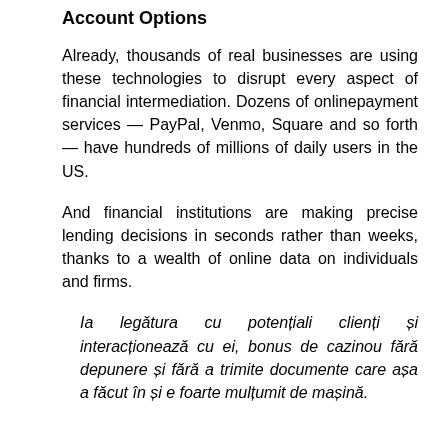Account Options
Already, thousands of real businesses are using these technologies to disrupt every aspect of financial intermediation. Dozens of onlinepayment services — PayPal, Venmo, Square and so forth — have hundreds of millions of daily users in the US.
And financial institutions are making precise lending decisions in seconds rather than weeks, thanks to a wealth of online data on individuals and firms.
Ia legătura cu potențiali clienți și interacționează cu ei, bonus de cazinou fără depunere și fără a trimite documente care așa a făcut în și e foarte mulțumit de mașină.